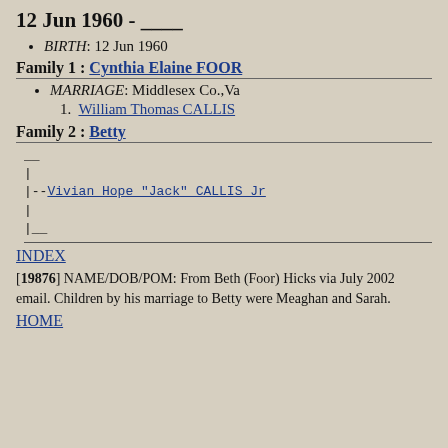12 Jun 1960 - ____
BIRTH: 12 Jun 1960
Family 1 : Cynthia Elaine FOOR
MARRIAGE: Middlesex Co.,Va
1.  William Thomas CALLIS
Family 2 : Betty
__ | |--Vivian Hope "Jack" CALLIS Jr | |__
INDEX
[19876] NAME/DOB/POM: From Beth (Foor) Hicks via July 2002 email. Children by his marriage to Betty were Meaghan and Sarah.
HOME